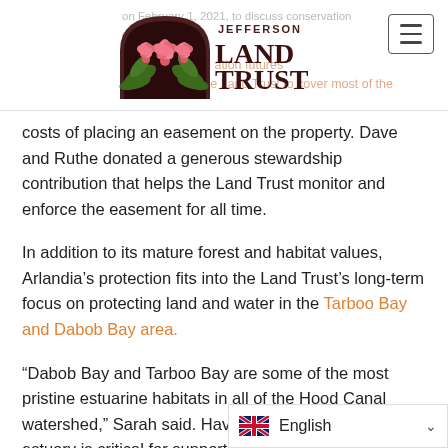Jefferson Land Trust navigation header with logo and hamburger menu
[Figure (logo): Jefferson Land Trust logo: arch with pink hibiscus flowers and green leaves, text 'JEFFERSON LAND TRUST' in dark maroon serif font]
costs of placing an easement on the property. Dave and Ruthe donated a generous stewardship contribution that helps the Land Trust monitor and enforce the easement for all time.
In addition to its mature forest and habitat values, Arlandia’s protection fits into the Land Trust’s long-term focus on protecting land and water in the Tarboo Bay and Dabob Bay area.
“Dabob Bay and Tarboo Bay are some of the most pristine estuarine habitats in all of the Hood Canal watershed,” Sarah said. Having a healthy stream and estuary is critical for supporting a rich diversity of fish and wildlife